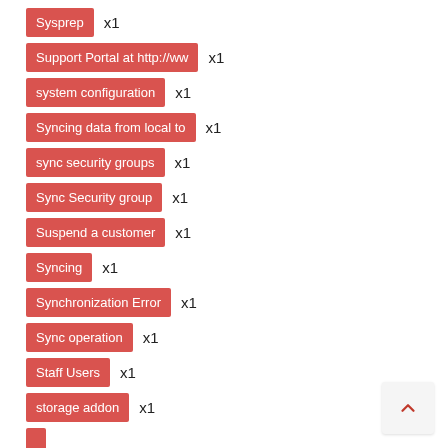Sysprep x1
Support Portal at http://ww x1
system configuration x1
Syncing data from local to x1
sync security groups x1
Sync Security group x1
Suspend a customer x1
Syncing x1
Synchronization Error x1
Sync operation x1
Staff Users x1
storage addon x1